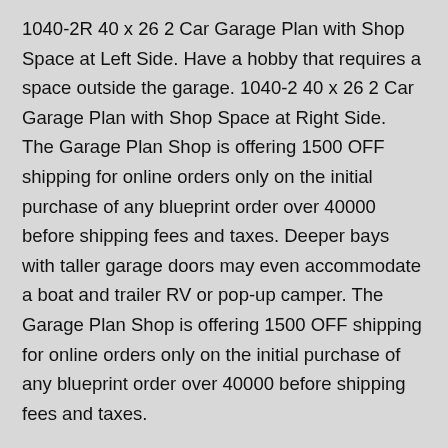1040-2R 40 x 26 2 Car Garage Plan with Shop Space at Left Side. Have a hobby that requires a space outside the garage. 1040-2 40 x 26 2 Car Garage Plan with Shop Space at Right Side. The Garage Plan Shop is offering 1500 OFF shipping for online orders only on the initial purchase of any blueprint order over 40000 before shipping fees and taxes. Deeper bays with taller garage doors may even accommodate a boat and trailer RV or pop-up camper. The Garage Plan Shop is offering 1500 OFF shipping for online orders only on the initial purchase of any blueprint order over 40000 before shipping fees and taxes.
Workshop garage plans are known for their practicality and functionality due to the ability to provide work space